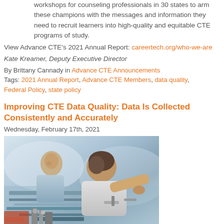workshops for counseling professionals in 30 states to arm these champions with the messages and information they need to recruit learners into high-quality and equitable CTE programs of study.
View Advance CTE's 2021 Annual Report: careertech.org/who-we-are
Kate Kreamer, Deputy Executive Director
By Brittany Cannady in Advance CTE Announcements
Tags: 2021 Annual Report, Advance CTE Members, data quality, Federal Policy, state policy
Improving CTE Data Quality: Data Is Collected Consistently and Accurately
Wednesday, February 17th, 2021
[Figure (photo): Two men working on industrial/mechanical equipment, focused on a machine, in a workshop setting]